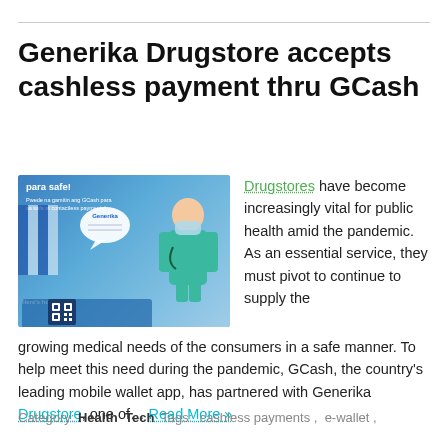Generika Drugstore accepts cashless payment thru GCash
[Figure (photo): Promotional photo showing a nurse in teal scrubs giving thumbs up with GCash para safe campaign branding, including app screens and QR code at the bottom]
Drugstores have become increasingly vital for public health amid the pandemic. As an essential service, they must pivot to continue to supply the growing medical needs of the consumers in a safe manner. To help meet this need during the pandemic, GCash, the country's leading mobile wallet app, has partnered with Generika Drugstore, one of… Read More »
Category: Health Tech Tags: cashless payments, e-wallet,